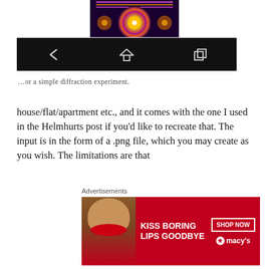[Figure (screenshot): Diffraction pattern image showing concentric colorful rings on dark background, with an Android navigation bar (back, home, recents buttons) below it]
…or a simple diffraction experiment.
house/flat/apartment etc., and it comes with the one I used in the Helmhurts post if you'd like to recreate that. The input is in the form of a .png file, which you may create as you wish. The limitations are that
Each pixel should represent 1 centimetre
Black areas represent open space
Coloured areas represent materials
[Figure (screenshot): Advertisement banner: 'KISS BORING LIPS GOODBYE' with a woman's face, SHOP NOW button, and Macy's star logo on red background]